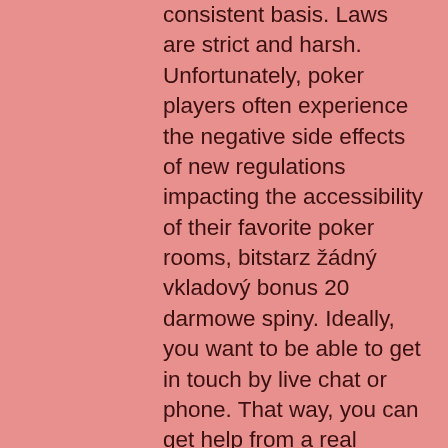consistent basis. Laws are strict and harsh. Unfortunately, poker players often experience the negative side effects of new regulations impacting the accessibility of their favorite poker rooms, bitstarz žádný vkladový bonus 20 darmowe spiny. Ideally, you want to be able to get in touch by live chat or phone. That way, you can get help from a real human right away, bitstarz žádný vkladový bonus codes 2021. Major poker sites also haven't embraced the payment solution yet because of the extra precautionary measures required (which costs them money) to send out Bitcoin payments, bitstarz žádný vkladový bonus codes for existing users. In reality though, Bitcoins are the best payment solutions for online gambling sites primary because Bitcoins are funds or money that are deposited legitimately on web-based wallets or personal wallets. Now, I know that most of you have probably heard of Bitcoin and